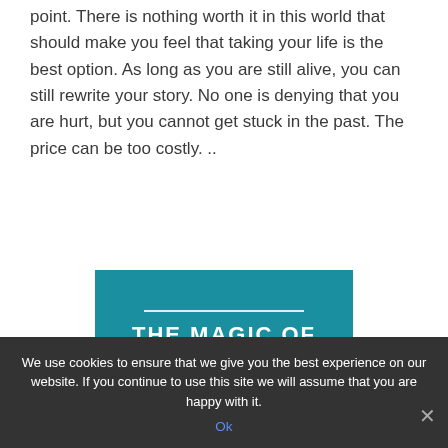point. There is nothing worth it in this world that should make you feel that taking your life is the best option. As long as you are still alive, you can still rewrite your story. No one is denying that you are hurt, but you cannot get stuck in the past. The price can be too costly. ..
[Figure (other): Teal/blue banner with a white horizontal line above bold white uppercase text reading 'THE MAGIC OF']
We use cookies to ensure that we give you the best experience on our website. If you continue to use this site we will assume that you are happy with it.
Ok